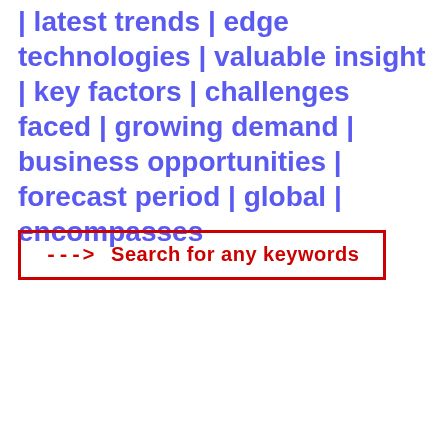| latest trends | edge technologies | valuable insight | key factors | challenges faced | growing demand | business opportunities | forecast period | global | encompasses
[Figure (other): Red-bordered search call-to-action box with text '---> Search for any keywords']
[Figure (screenshot): Screenshot of GoGoGreenCBD website showing site title, navigation bar with links including CBD Oil Information, Contact Us, Home (bold), About, Privacy Policy, Contact, Where To Buy CBD Oil In Massachusetts, Where To Buy CBD Oil In Rhode Island, and a Home heading with Recent Posts sidebar section]